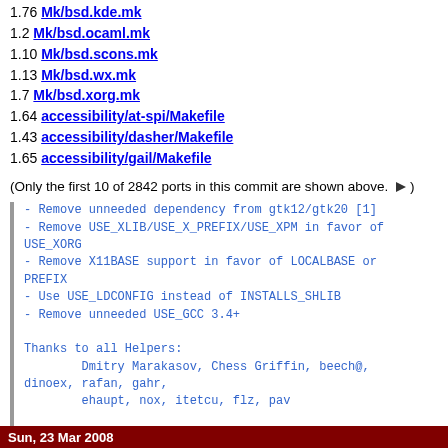1.76 Mk/bsd.kde.mk
1.2 Mk/bsd.ocaml.mk
1.10 Mk/bsd.scons.mk
1.13 Mk/bsd.wx.mk
1.7 Mk/bsd.xorg.mk
1.64 accessibility/at-spi/Makefile
1.43 accessibility/dasher/Makefile
1.65 accessibility/gail/Makefile
(Only the first 10 of 2842 ports in this commit are shown above. ▶)
- Remove unneeded dependency from gtk12/gtk20 [1]
- Remove USE_XLIB/USE_X_PREFIX/USE_XPM in favor of USE_XORG
- Remove X11BASE support in favor of LOCALBASE or PREFIX
- Use USE_LDCONFIG instead of INSTALLS_SHLIB
- Remove unneeded USE_GCC 3.4+

Thanks to all Helpers:
        Dmitry Marakasov, Chess Griffin, beech@,
dinoex, rafan, gahr,
        ehaupt, nox, itetcu, flz, pav

PR:             116263
Tested on:      pointyhat
Approved by:    portmgr (pav)
Sun, 23 Mar 2008